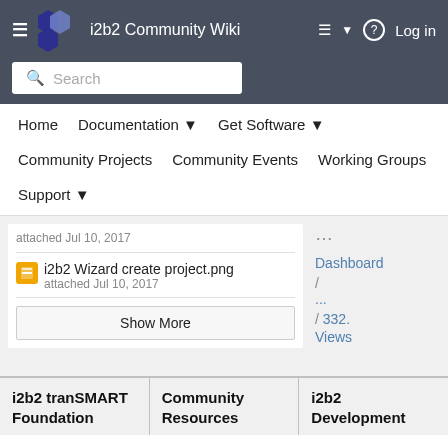i2b2 Community Wiki — navigation bar with Home, Documentation, Get Software, Community Projects, Community Events, Working Groups, Support
attached Jul 10, 2017
i2b2 Wizard create project.png
attached Jul 10, 2017
Show More
...
Dashboard
/ ...
/ 332. Views
i2b2 tranSMART Foundation
Community Resources
i2b2 Development